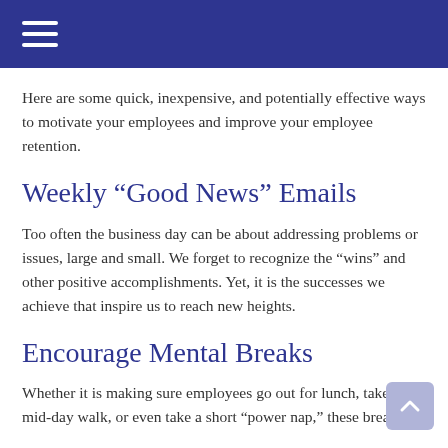Here are some quick, inexpensive, and potentially effective ways to motivate your employees and improve your employee retention.
Weekly “Good News” Emails
Too often the business day can be about addressing problems or issues, large and small. We forget to recognize the “wins” and other positive accomplishments. Yet, it is the successes we achieve that inspire us to reach new heights.
Encourage Mental Breaks
Whether it is making sure employees go out for lunch, take a mid-day walk, or even take a short “power nap,” these breaks